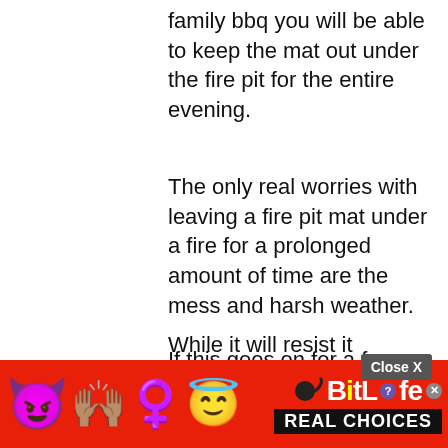family bbq you will be able to keep the mat out under the fire pit for the entire evening.
The only real worries with leaving a fire pit mat under a fire for a prolonged amount of time are the mess and harsh weather.
While it will resist it burning through, a fire pit mat will still catch quite a few embers and pieces of ash along with any burnt wood or food that’s popped out of the pit.
If this goes on for a few hours this can make for quite a troublesome clean u
[Figure (screenshot): BitLife mobile game advertisement banner with colorful emojis (devil, woman raising hands, winking face with halo) on red background, BitLife logo with REAL CHOICES text on black strip, and a Close X button overlay.]